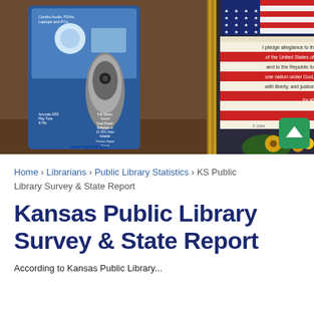[Figure (photo): Photo of a product package (iRock radio device with www.myirock.com text) on the left, and a framed Pledge of Allegiance poster on the right with yellow flowers at the bottom corner. A green scroll-to-top button is visible.]
Home › Librarians › Public Library Statistics › KS Public Library Survey & State Report
Kansas Public Library Survey & State Report
According to Kansas Public Library...